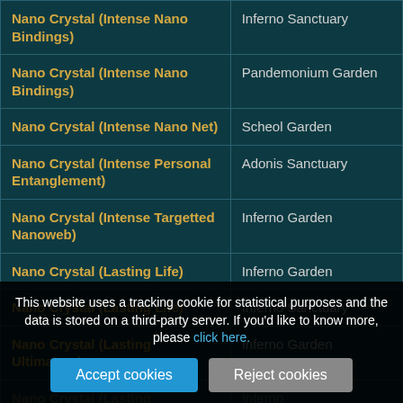| Item | Location |
| --- | --- |
| Nano Crystal (Intense Nano Bindings) | Inferno Sanctuary |
| Nano Crystal (Intense Nano Bindings) | Pandemonium Garden |
| Nano Crystal (Intense Nano Net) | Scheol Garden |
| Nano Crystal (Intense Personal Entanglement) | Adonis Sanctuary |
| Nano Crystal (Intense Targetted Nanoweb) | Inferno Garden |
| Nano Crystal (Lasting Life) | Inferno Garden |
| Nano Crystal (Lasting Life) | Inferno Sanctuary |
| Nano Crystal (Lasting Ultimatum) | Inferno Garden |
| Nano Crystal (Lasting… | Inferno… |
| Nano Crystal (…) | Inferno… |
| Nano Crystal (Life Bond) | Inferno… |
This website uses a tracking cookie for statistical purposes and the data is stored on a third-party server. If you'd like to know more, please click here.